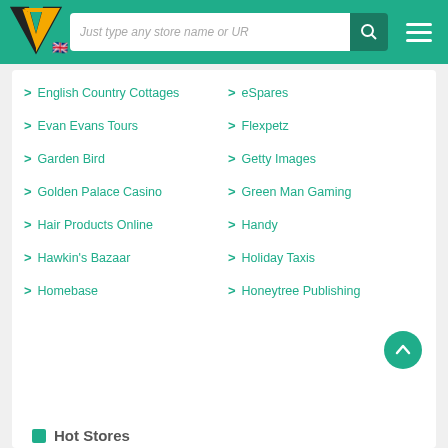[Figure (logo): V-shaped logo in orange and black with UK flag below]
English Country Cottages
eSpares
Evan Evans Tours
Flexpetz
Garden Bird
Getty Images
Golden Palace Casino
Green Man Gaming
Hair Products Online
Handy
Hawkin's Bazaar
Holiday Taxis
Homebase
Honeytree Publishing
Hot Stores